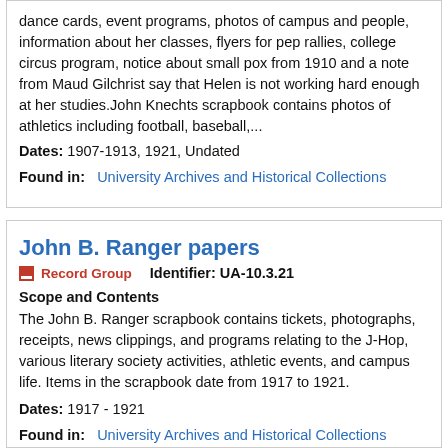dance cards, event programs, photos of campus and people, information about her classes, flyers for pep rallies, college circus program, notice about small pox from 1910 and a note from Maud Gilchrist say that Helen is not working hard enough at her studies.John Knechts scrapbook contains photos of athletics including football, baseball,...
Dates: 1907-1913, 1921, Undated
Found in: University Archives and Historical Collections
John B. Ranger papers
Record Group  Identifier: UA-10.3.21
Scope and Contents
The John B. Ranger scrapbook contains tickets, photographs, receipts, news clippings, and programs relating to the J-Hop, various literary society activities, athletic events, and campus life. Items in the scrapbook date from 1917 to 1921.
Dates: 1917 - 1921
Found in: University Archives and Historical Collections